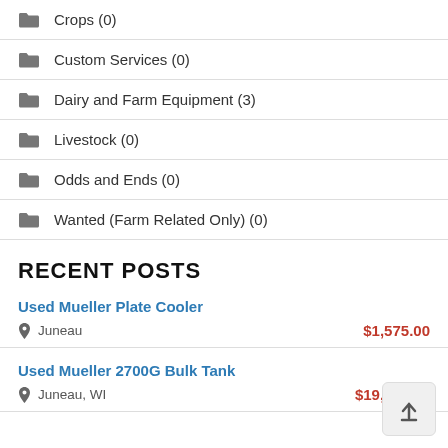Crops (0)
Custom Services (0)
Dairy and Farm Equipment (3)
Livestock (0)
Odds and Ends (0)
Wanted (Farm Related Only) (0)
RECENT POSTS
Used Mueller Plate Cooler
Juneau   $1,575.00
Used Mueller 2700G Bulk Tank
Juneau, WI   $19,325.00